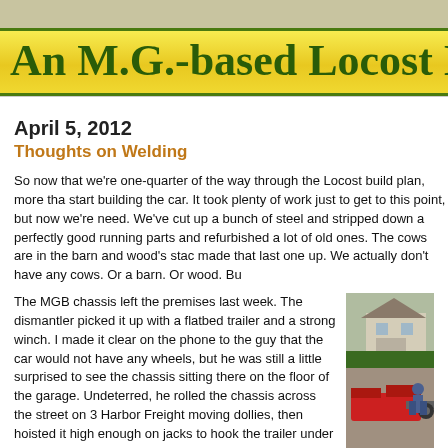An M.G.-based Locost B
April 5, 2012
Thoughts on Welding
So now that we're one-quarter of the way through the Locost build plan, more tha start building the car. It took plenty of work just to get to this point, but now we're need. We've cut up a bunch of steel and stripped down a perfectly good running parts and refurbished a lot of old ones. The cows are in the barn and wood's sta made that last one up. We actually don't have any cows. Or a barn. Or wood. Bu
The MGB chassis left the premises last week. The dismantler picked it up with a flatbed trailer and a strong winch. I made it clear on the phone to the guy that the car would not have any wheels, but he was still a little surprised to see the chassis sitting there on the floor of the garage. Undeterred, he rolled the chassis across the street on 3 Harbor Freight moving dollies, then hoisted it high enough on jacks to hook the trailer under the front end. After that it
[Figure (photo): A red car chassis being loaded onto a flatbed trailer in a residential driveway, with a person working on it]